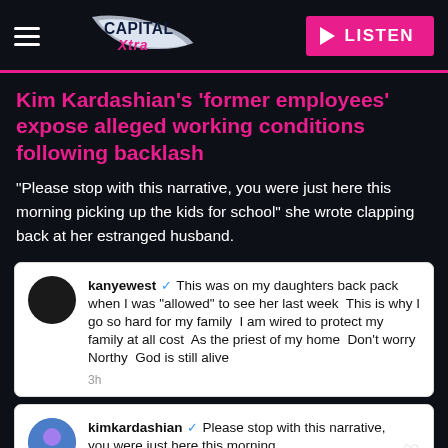Capital Xtra — LISTEN
Kim Kardashian's 'former employees' expose alleged working conditions following backlash
"Please stop with this narrative, you were just here this morning picking up the kids for school" she wrote clapping back at her estranged husband.
kanyewest ✓ This was on my daughters back pack when I was "allowed" to see her last week  This is why I go so hard for my family  I am wired to protect my family at all cost  As the priest of my home  Don't worry Northy  God is still alive
3h
kimkardashian ✓ Please stop with this narrative, you were just here this morning